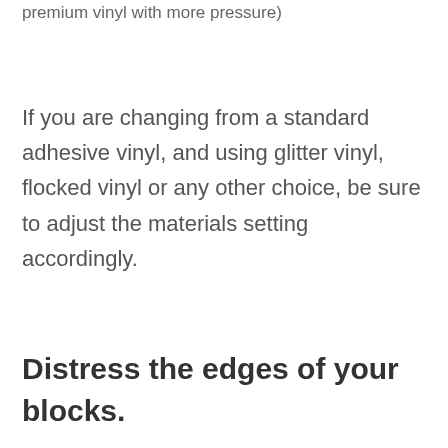premium vinyl with more pressure)
If you are changing from a standard adhesive vinyl, and using glitter vinyl, flocked vinyl or any other choice, be sure to adjust the materials setting accordingly.
Distress the edges of your blocks.